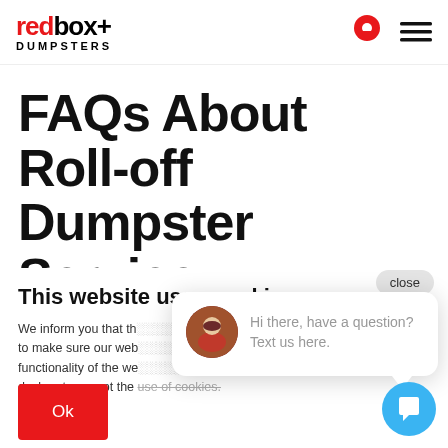redbox+ DUMPSTERS
FAQs About Roll-off Dumpster Service
This website uses cookies
We inform you that this website uses cookies to make sure our website works correctly and functionality of the website. By using our site you declare to accept the use of cookies.
Ok
Hi there, have a question? Text us here.